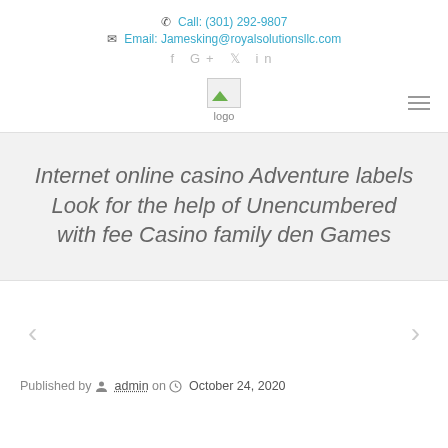Call: (301) 292-9807 | Email: Jamesking@royalsolutionsllc.com
[Figure (logo): Website logo image with text 'logo' below it]
Internet online casino Adventure labels Look for the help of Unencumbered with fee Casino family den Games
Published by admin on October 24, 2020